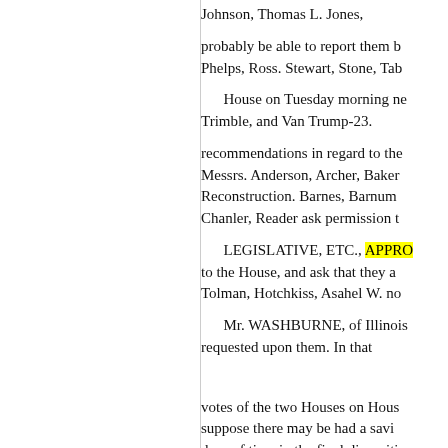Johnson, Thomas L. Jones,
probably be able to report them b Phelps, Ross. Stewart, Stone, Tab
House on Tuesday morning ne Trimble, and Van Trump-23.
recommendations in regard to the Messrs. Anderson, Archer, Baker Reconstruction. Barnes, Barnum Chanler, Reader ask permission t
LEGISLATIVE, ETC., APPRO to the House, and ask that they a Tolman, Hotchkiss, Asahel W. no
Mr. WASHBURNE, of Illinois requested upon them. In that
votes of the two Houses on Hous suppose there may be had a savi days of time in the final dispositi
605, making appropriations fo Randall, Robinson, Selye, Shella